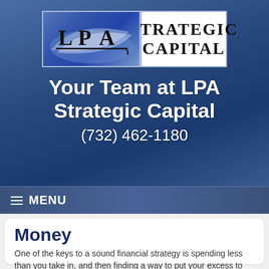[Figure (logo): LPA Strategic Capital logo — blue swoosh graphic on left with 'LPA' text, white rectangle on right with 'STRATEGIC CAPITAL' in bold serif font]
Your Team at LPA Strategic Capital
(732) 462-1180
≡MENU
Money
One of the keys to a sound financial strategy is spending less than you take in, and then finding a way to put your excess to work. A money management approach involves creating budgets to understand and make decisions about where your money is going. It also involves knowing where